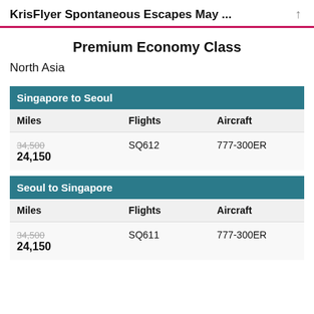KrisFlyer Spontaneous Escapes May ...
Premium Economy Class
North Asia
| Singapore to Seoul |  |  |
| --- | --- | --- |
| Miles | Flights | Aircraft |
| 34,500 / 24,150 | SQ612 | 777-300ER |
| Seoul to Singapore |  |  |
| --- | --- | --- |
| Miles | Flights | Aircraft |
| 34,500 / 24,150 | SQ611 | 777-300ER |